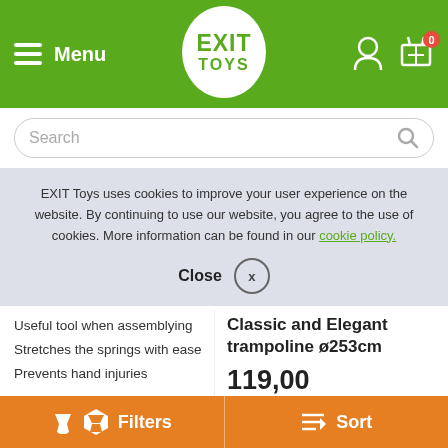[Figure (screenshot): EXIT Toys website header with green background, hamburger menu icon, Menu text, EXIT TOYS logo in white circle, user icon, and shopping cart icon with 0 badge]
[Figure (screenshot): Search bar with rounded border and magnifying glass icon]
EXIT Toys uses cookies to improve your user experience on the website. By continuing to use our website, you agree to the use of cookies. More information can be found in our cookie policy.
Close  X
Classic and Elegant trampoline ø253cm
Useful tool when assemblying
Stretches the springs with ease
Prevents hand injuries
11,00
In stock, directly available
119,00
In stock, dire
Contact
Filters   Sort